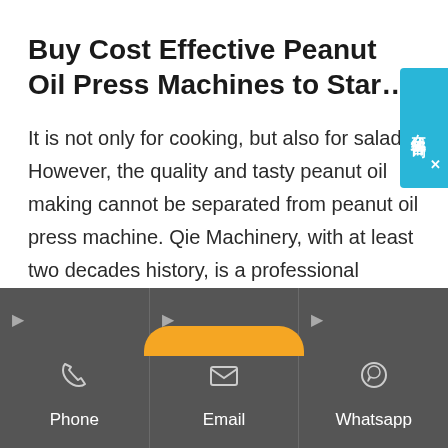Buy Cost Effective Peanut Oil Press Machines to Star...
It is not only for cooking, but also for salads. However, the quality and tasty peanut oil making cannot be separated from peanut oil press machine. Qie Machinery, with at least two decades history, is a professional manufacturer of various peanut oil equipment....
[Figure (other): Chinese live chat button widget (在线咨询) on right side in cyan/blue color]
[Figure (other): Dark gray footer navigation bar with three columns: Phone (phone icon), Email (envelope icon), Whatsapp (whatsapp icon), each with an arrow indicator at top]